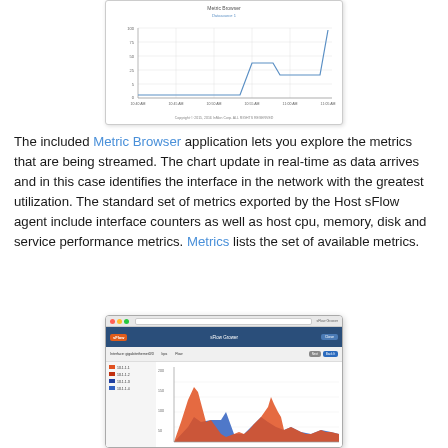[Figure (screenshot): Screenshot of a Metric Browser line chart showing network utilization over time with a step increase at the end of the time range. The chart has a y-axis with values up to 100 and an x-axis with time labels. A legend reads 'Datasource 1'.]
The included Metric Browser application lets you explore the metrics that are being streamed. The chart update in real-time as data arrives and in this case identifies the interface in the network with the greatest utilization. The standard set of metrics exported by the Host sFlow agent include interface counters as well as host cpu, memory, disk and service performance metrics. Metrics lists the set of available metrics.
[Figure (screenshot): Screenshot of the sFlow Grower (or similar sFlow browser) application window showing a stacked area chart with red and blue areas representing network metrics over time. The interface has a dark blue navigation bar, toolbar with Next and Back buttons, and a chart area with a legend panel on the left.]